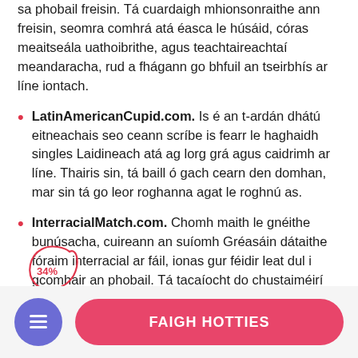sa phobail freisin. Tá cuardaigh mhionsonraithe ann freisin, seomra comhrá atá éasca le húsáid, córas meaitseála uathoibrithe, agus teachtaireachtaí meandaracha, rud a fhágann go bhfuil an tseirbhís ar líne iontach.
LatinAmericanCupid.com. Is é an t-ardán dhátú eitneachais seo ceann scríbe is fearr le haghaidh singles Laidineach atá ag lorg grá agus caidrimh ar líne. Thairis sin, tá baill ó gach cearn den domhan, mar sin tá go leor roghanna agat le roghnú as.
InterracialMatch.com. Chomh maith le gnéithe bunúsacha, cuireann an suíomh Gréasáin dátaithe fóraim interracial ar fáil, ionas gur féidir leat dul i gcomhair an phobail. Tá tacaíocht do chustaiméirí ann freisin atá inrochtana lá agus oíche; dá bharr sin...